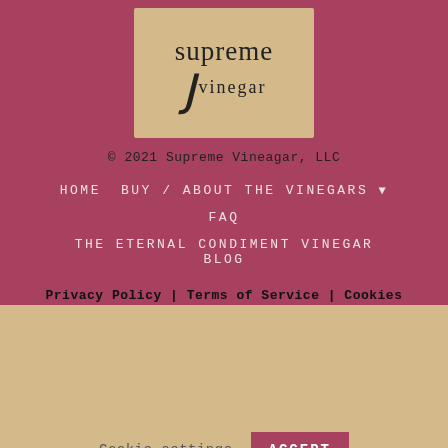[Figure (logo): Supreme Vinegar logo on tan/beige background with stylized J swoosh]
© 2021 Supreme Vineagar, LLC
HOME   BUY / ABOUT THE VINEGARS ▾
FAQ
THE ETERNAL CONDIMENT VINEGAR BLOG
CONTACT
Privacy Policy | Terms of Service | Cookies
By using this website, you agree to our use of cookies. We use cookies to provide you with a great experience and to help our website run effectively.
Cookie settings   ACCEPT